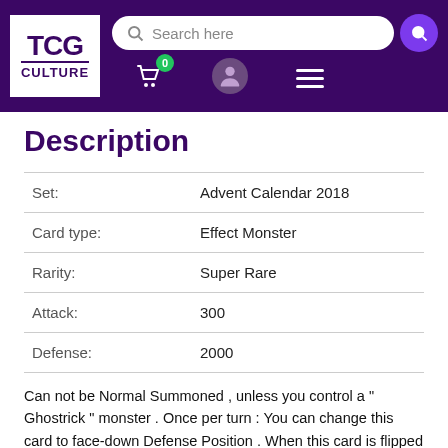[Figure (logo): TCG Culture logo in white box on purple header with search bar and navigation icons]
Description
| Field | Value |
| --- | --- |
| Set: | Advent Calendar 2018 |
| Card type: | Effect Monster |
| Rarity: | Super Rare |
| Attack: | 300 |
| Defense: | 2000 |
Can not be Normal Summoned , unless you control a " Ghostrick " monster . Once per turn : You can change this card to face-down Defense Position . When this card is flipped face-up : You can target 1 "Ghostrick" monster on the field ; this turn , it can not be destroyed by battle or card effects.